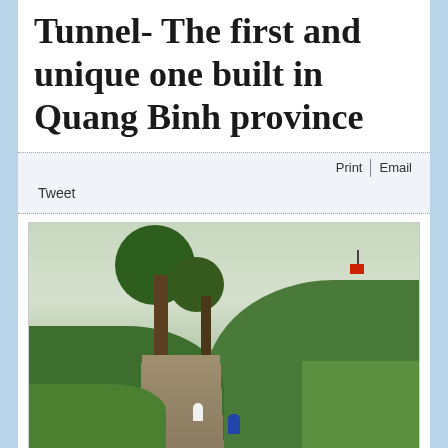Tunnel- The first and unique one built in Quang Binh province
Print | Email | Tweet
[Figure (photo): Outdoor photograph showing a hillside with large trees and green foliage. A stairway or path leads up the hill. Two or three people are visible climbing the path. A small red flag is visible on the upper right of the hill. Overcast sky in the background.]